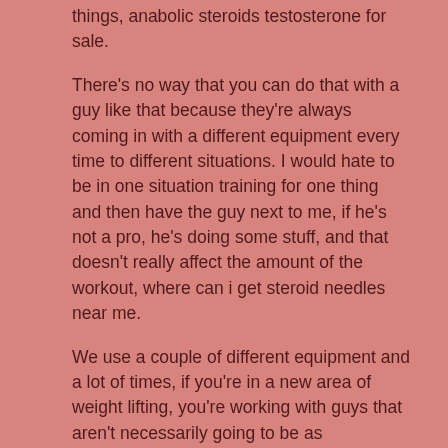things, anabolic steroids testosterone for sale.
There's no way that you can do that with a guy like that because they're always coming in with a different equipment every time to different situations. I would hate to be in one situation training for one thing and then have the guy next to me, if he's not a pro, he's doing some stuff, and that doesn't really affect the amount of the workout, where can i get steroid needles near me.
We use a couple of different equipment and a lot of times, if you're in a new area of weight lifting, you're working with guys that aren't necessarily going to be as knowledgeable or know as much as you and maybe they don't have as much equipment, and this is what works for me.
In the beginning, it doesn't hurt to have a